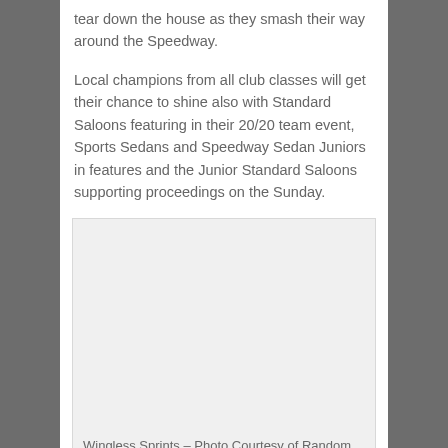tear down the house as they smash their way around the Speedway.
Local champions from all club classes will get their chance to shine also with Standard Saloons featuring in their 20/20 team event, Sports Sedans and Speedway Sedan Juniors in features and the Junior Standard Saloons supporting proceedings on the Sunday.
[Figure (photo): A light grey placeholder image area for a photo of Wingless Sprints]
Wingless Sprints – Photo Courtesy of Random